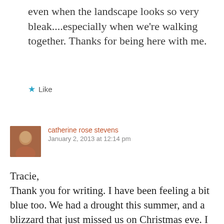even when the landscape looks so very bleak....especially when we're walking together. Thanks for being here with me.
★ Like
catherine rose stevens
January 2, 2013 at 12:14 pm
Tracie,
Thank you for writing. I have been feeling a bit blue too. We had a drought this summer, and a blizzard that just missed us on Christmas eve. I was riveted to the weather station during Superstorm Sandy as areas where I used to live